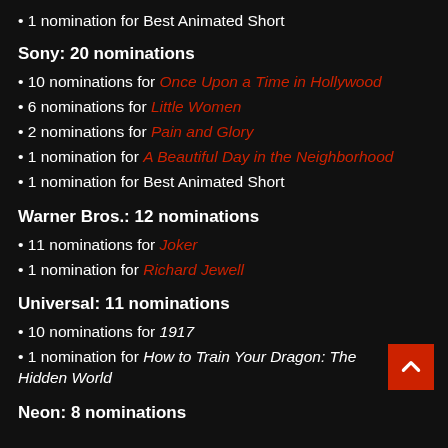• 1 nomination for Best Animated Short
Sony: 20 nominations
• 10 nominations for Once Upon a Time in Hollywood
• 6 nominations for Little Women
• 2 nominations for Pain and Glory
• 1 nomination for A Beautiful Day in the Neighborhood
• 1 nomination for Best Animated Short
Warner Bros.: 12 nominations
• 11 nominations for Joker
• 1 nomination for Richard Jewell
Universal: 11 nominations
• 10 nominations for 1917
• 1 nomination for How to Train Your Dragon: The Hidden World
Neon: 8 nominations